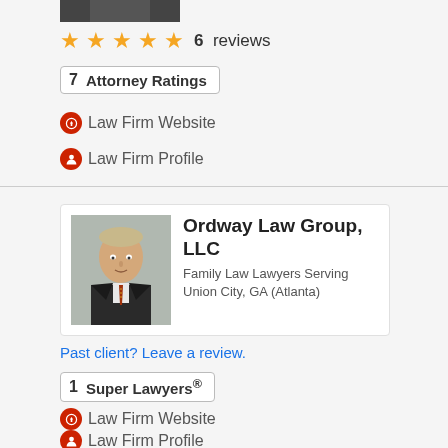[Figure (photo): Partial view of a person's photo at the top of the page]
★★★★★  6  reviews
7  Attorney Ratings
Law Firm Website
Law Firm Profile
[Figure (photo): Photo of a man in a dark suit with a striped tie, representing Ordway Law Group, LLC]
Ordway Law Group, LLC
Family Law Lawyers Serving Union City, GA (Atlanta)
Past client? Leave a review.
1  Super Lawyers®
Law Firm Website
Law Firm Profile